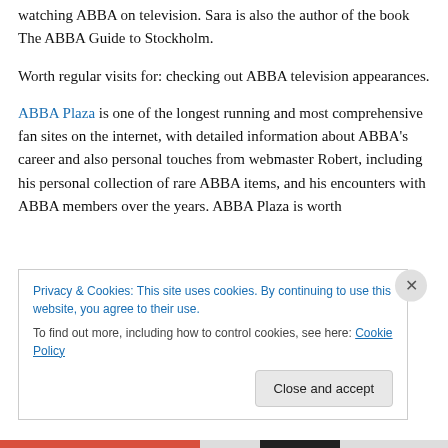watching ABBA on television. Sara is also the author of the book The ABBA Guide to Stockholm.
Worth regular visits for: checking out ABBA television appearances.
ABBA Plaza is one of the longest running and most comprehensive fan sites on the internet, with detailed information about ABBA's career and also personal touches from webmaster Robert, including his personal collection of rare ABBA items, and his encounters with ABBA members over the years. ABBA Plaza is worth
Privacy & Cookies: This site uses cookies. By continuing to use this website, you agree to their use.
To find out more, including how to control cookies, see here: Cookie Policy
Close and accept